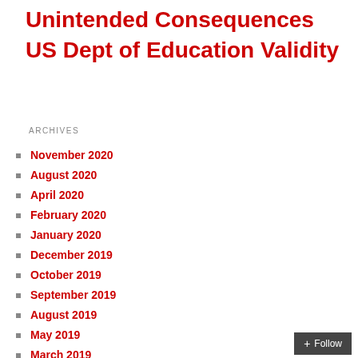Unintended Consequences US Dept of Education Validity
ARCHIVES
November 2020
August 2020
April 2020
February 2020
January 2020
December 2019
October 2019
September 2019
August 2019
May 2019
March 2019
November 2018
September 2018
August 2018
July 2018